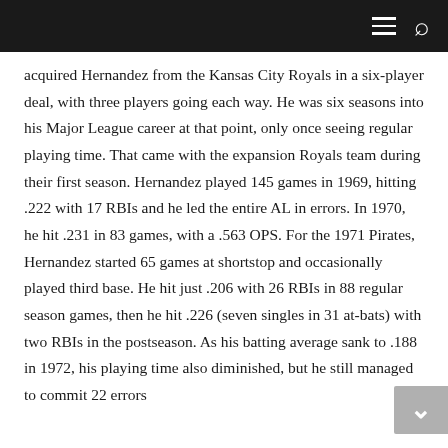≡ 🔍
acquired Hernandez from the Kansas City Royals in a six-player deal, with three players going each way. He was six seasons into his Major League career at that point, only once seeing regular playing time. That came with the expansion Royals team during their first season. Hernandez played 145 games in 1969, hitting .222 with 17 RBIs and he led the entire AL in errors. In 1970, he hit .231 in 83 games, with a .563 OPS. For the 1971 Pirates, Hernandez started 65 games at shortstop and occasionally played third base. He hit just .206 with 26 RBIs in 88 regular season games, then he hit .226 (seven singles in 31 at-bats) with two RBIs in the postseason. As his batting average sank to .188 in 1972, his playing time also diminished, but he still managed to commit 22 errors